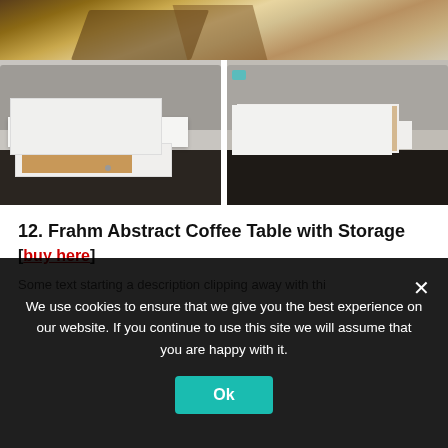[Figure (photo): Top portion of a wooden abstract coffee table surface with geometric shapes, brown tones on light background]
[Figure (photo): Two side-by-side photos of the Frahm Abstract Coffee Table with Storage in a living room setting. Left image shows the table with an open drawer revealing storage. Right image shows open top compartments with items inside. Gray sofas and dark rugs visible in both images.]
12. Frahm Abstract Coffee Table with Storage
[buy here]
Cookie consent notice: We use cookies to ensure that we give you the best experience on our website. If you continue to use this site we will assume that you are happy with it.